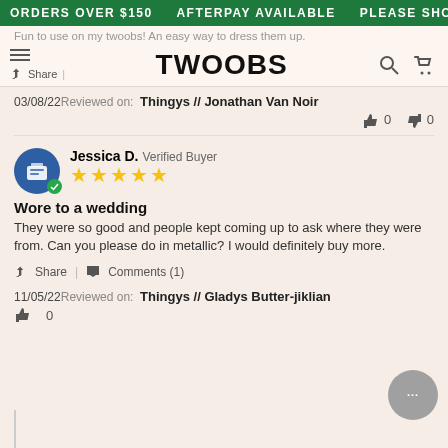ORDERS OVER $150   AFTERPAY AVAILABLE   PLEASE SHOP RE
[Figure (screenshot): TWOOBS website navigation bar with hamburger menu, TWOOBS logo, search and cart icons]
Fun to use on my twoobs! An easy way to dress them up.
Share |
03/08/22 Reviewed on: Thingys // Jonathan Van Noir
👍 0   👎 0
Jessica D.  Verified Buyer
★★★★★
Wore to a wedding
They were so good and people kept coming up to ask where they were from. Can you please do in metallic? I would definitely buy more.
Share |  Comments (1)
11/05/22 Reviewed on: Thingys // Gladys Butter-jiklian
👍 0